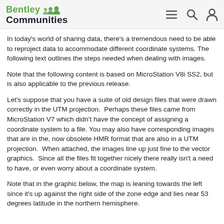Bentley Communities
In today's world of sharing data, there's a tremendous need to be able to reproject data to accommodate different coordinate systems. The following text outlines the steps needed when dealing with images.
Note that the following content is based on MicroStation V8i SS2, but is also applicable to the previous release.
Let's suppose that you have a suite of old design files that were drawn correctly in the UTM projection.  Perhaps these files came from MicroStation V7 which didn't have the concept of assigning a coordinate system to a file. You may also have corresponding images that are in the, now obsolete HMR format that are also in a UTM projection.  When attached, the images line up just fine to the vector graphics.  Since all the files fit together nicely there really isn't a need to have, or even worry about a coordinate system.
Note that in the graphic below, the map is leaning towards the left since it's up against the right side of the zone edge and lies near 53 degrees latitude in the northern hemisphere.